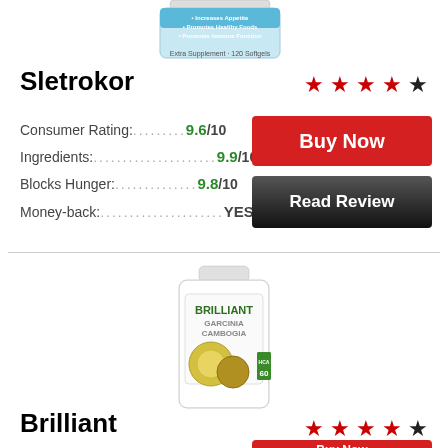[Figure (photo): Sletrokor supplement bottle, blue and white label]
Sletrokor
[Figure (infographic): 4 red stars and 1 dark star rating for Sletrokor]
Consumer Rating:......... 9.6/10
Ingredients:................... 9.9/10
Blocks Hunger:.............. 9.8/10
Money-back:..................... YES
[Figure (other): Buy Now red button]
[Figure (other): Read Review dark button]
[Figure (photo): Brilliant Garcinia Cambogia supplement bottle with fruit imagery]
Brilliant
[Figure (infographic): 4 red stars and 1 dark star rating for Brilliant]
[Figure (other): Buy Now red button (partial, bottom of page)]